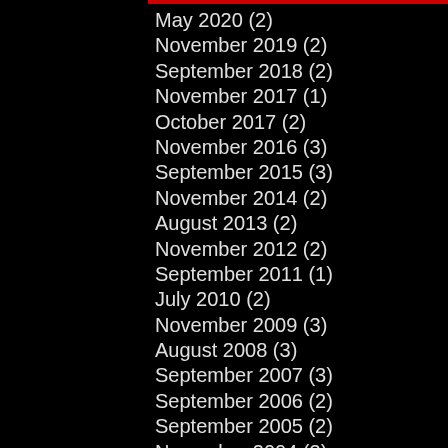May 2020 (2)
November 2019 (2)
September 2018 (2)
November 2017 (1)
October 2017 (2)
November 2016 (3)
September 2015 (3)
November 2014 (2)
August 2013 (2)
November 2012 (2)
September 2011 (1)
July 2010 (2)
November 2009 (3)
August 2008 (3)
September 2007 (3)
September 2006 (2)
September 2005 (2)
November 2004 (3)
August 2003 (2)
November 2002 (3)
September 2001 (3)